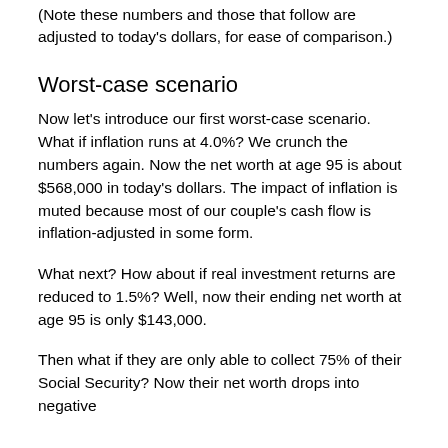(Note these numbers and those that follow are adjusted to today's dollars, for ease of comparison.)
Worst-case scenario
Now let's introduce our first worst-case scenario. What if inflation runs at 4.0%? We crunch the numbers again. Now the net worth at age 95 is about $568,000 in today's dollars. The impact of inflation is muted because most of our couple's cash flow is inflation-adjusted in some form.
What next? How about if real investment returns are reduced to 1.5%? Well, now their ending net worth at age 95 is only $143,000.
Then what if they are only able to collect 75% of their Social Security? Now their net worth drops into negative